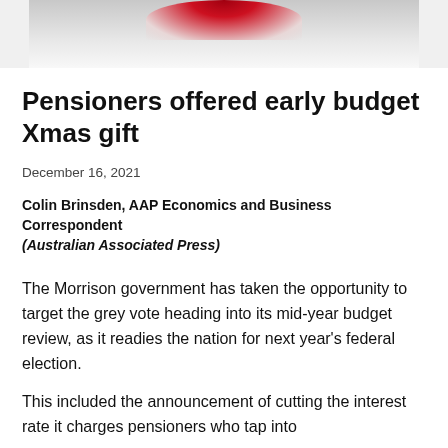[Figure (photo): Partial photo at top of page, showing what appears to be a red and white object, likely decorative Christmas themed, cropped at the top of the article.]
Pensioners offered early budget Xmas gift
December 16, 2021
Colin Brinsden, AAP Economics and Business Correspondent
(Australian Associated Press)
The Morrison government has taken the opportunity to target the grey vote heading into its mid-year budget review, as it readies the nation for next year's federal election.
This included the announcement of cutting the interest rate it charges pensioners who tap into